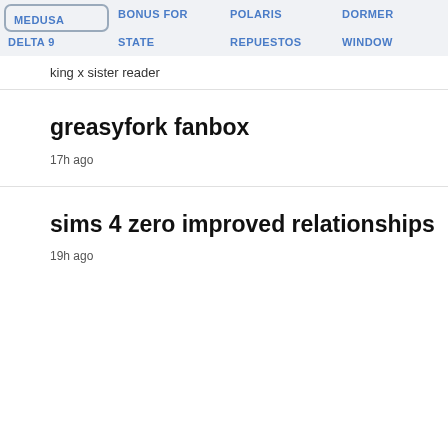MEDUSA  BONUS FOR STATE  POLARIS REPUESTOS  DORMER WINDOW  DELTA 9
king x sister reader
greasyfork fanbox
17h ago
sims 4 zero improved relationships
19h ago